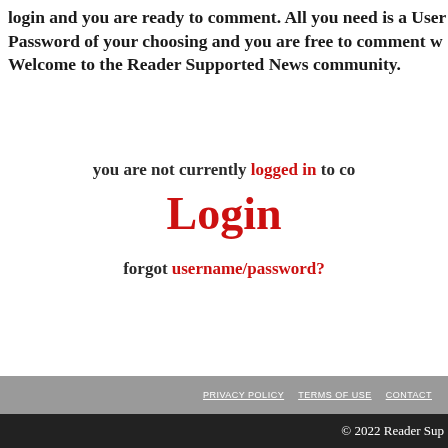login and you are ready to comment. All you need is a Username and Password of your choosing and you are free to comment whenever. Welcome to the Reader Supported News community.
you are not currently logged in to comment
Login
forgot username/password?
PRIVACY POLICY   TERMS OF USE   CONTACT
© 2022 Reader Sup